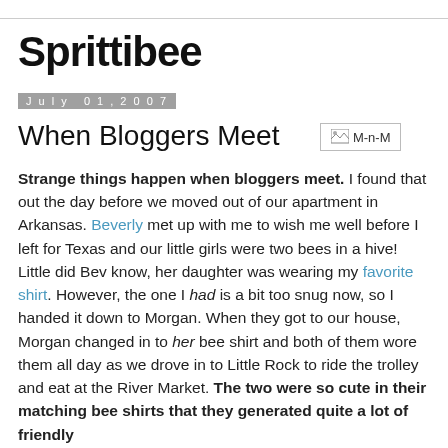Sprittibee
July 01, 2007
When Bloggers Meet
[Figure (photo): M-n-M image placeholder]
Strange things happen when bloggers meet. I found that out the day before we moved out of our apartment in Arkansas. Beverly met up with me to wish me well before I left for Texas and our little girls were two bees in a hive! Little did Bev know, her daughter was wearing my favorite shirt. However, the one I had is a bit too snug now, so I handed it down to Morgan. When they got to our house, Morgan changed in to her bee shirt and both of them wore them all day as we drove in to Little Rock to ride the trolley and eat at the River Market. The two were so cute in their matching bee shirts that they generated quite a lot of friendly